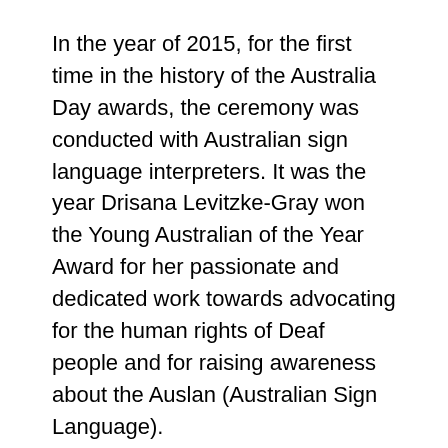In the year of 2015, for the first time in the history of the Australia Day awards, the ceremony was conducted with Australian sign language interpreters. It was the year Drisana Levitzke-Gray won the Young Australian of the Year Award for her passionate and dedicated work towards advocating for the human rights of Deaf people and for raising awareness about the Auslan (Australian Sign Language).
The fifth-generation in her family to be born Deaf, Drisana was fortunate to have been born to Deaf parents and thus raised bilingual (Auslan and English), and around people who understood what it meant to be Deaf. But sadly, that is not the case with every Deaf person out